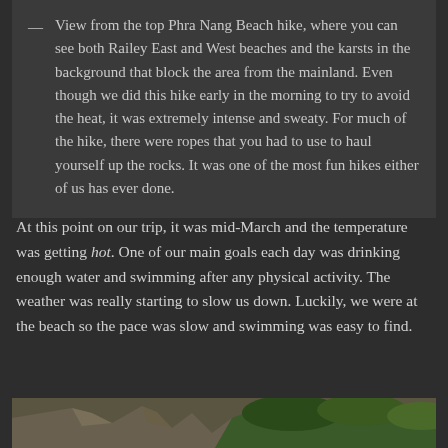— View from the top Phra Nang Beach hike, where you can see both Railey East and West beaches and the karsts in the background that block the area from the mainland. Even though we did this hike early in the morning to try to avoid the heat, it was extremely intense and sweaty. For much of the hike, there were ropes that you had to use to haul yourself up the rocks. It was one of the most fun hikes either of us has ever done.
At this point on our trip, it was mid-March and the temperature was getting hot. One of our main goals each day was drinking enough water and swimming after any physical activity. The weather was really starting to slow us down. Luckily, we were at the beach so the pace was slow and swimming was easy to find.
[Figure (photo): Partially visible photograph showing what appears to be rocky terrain and green trees/foliage, taken from a hiking vantage point.]